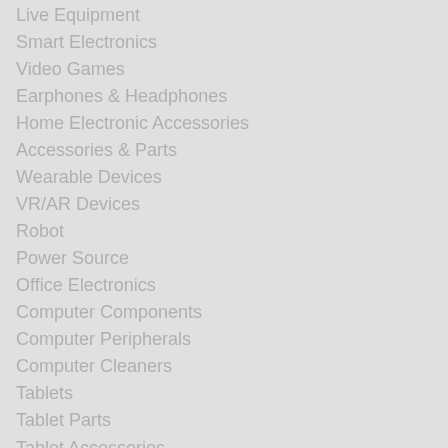Live Equipment
Smart Electronics
Video Games
Earphones & Headphones
Home Electronic Accessories
Accessories & Parts
Wearable Devices
VR/AR Devices
Robot
Power Source
Office Electronics
Computer Components
Computer Peripherals
Computer Cleaners
Tablets
Tablet Parts
Tablet Accessories
Laptops
Laptop Accessories
Laptop Parts
External Storage
Internal Storage
Networking